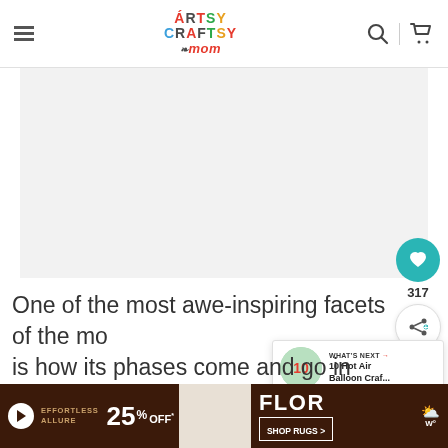Artsy Craftsy Mom — navigation bar with logo, search, and cart icons
[Figure (photo): Large image placeholder area (white/light gray), part of a blog post on moon phases]
[Figure (infographic): Like button (teal circle with heart icon) showing count 317, share button below]
[Figure (infographic): What's Next popup: '10 Hot Air Balloon Craf...' with thumbnail]
One of the most awe-inspiring facets of the mo is how its phases come and go in the same number of days, every single time. Although just the difference in the matter of the moon being lit noon
[Figure (infographic): Advertisement banner: EFFORTLESS ALLURE 25% OFF - FLOR SHOP RUGS]